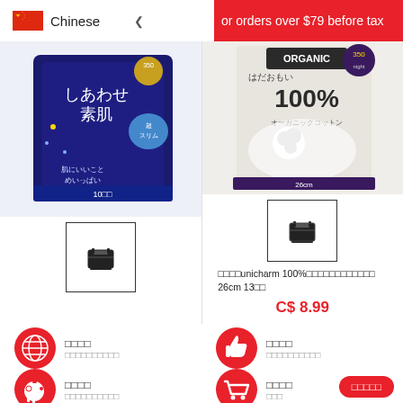Chinese  ∨   or orders over $79 before tax
[Figure (photo): Japanese product - KAO Laurier sanitary pad box, dark blue packaging with Japanese text, 35cm 10 count]
□□KAO□□ Laurier□□□ □□ F□□□□□□□□□□□ 35cm 10□□
C$ 6.99
[Figure (photo): Unicharm 100% organic sanitary pad product, white packaging with Japanese text, 26cm 13 count]
□□□□unicharm 100%□□□□□□□□□□□□ 26cm 13□□
C$ 8.99
[Figure (illustration): Red circle with globe/world icon]
□□□□
□□□□□□□□□□
[Figure (illustration): Red circle with thumbs up icon]
□□□□
□□□□□□□□□□
[Figure (illustration): Red circle with piggy bank icon]
□□□□
□□□□□□□□□□
[Figure (illustration): Red circle with shopping cart icon]
□□□□
□□□
□□□□□